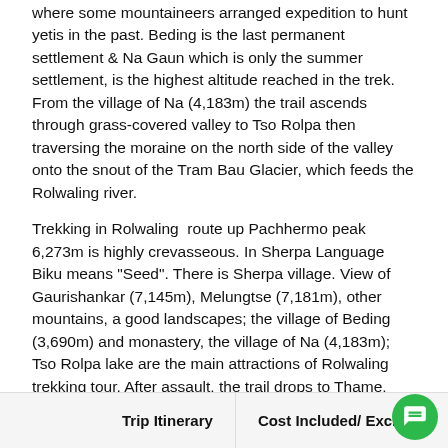where some mountaineers arranged expedition to hunt yetis in the past. Beding is the last permanent settlement & Na Gaun which is only the summer settlement, is the highest altitude reached in the trek. From the village of Na (4,183m) the trail ascends through grass-covered valley to Tso Rolpa then traversing the moraine on the north side of the valley onto the snout of the Tram Bau Glacier, which feeds the Rolwaling river.
Trekking in Rolwaling  route up Pachhermo peak 6,273m is highly crevasseous. In Sherpa Language Biku means "Seed". There is Sherpa village. View of Gaurishankar (7,145m), Melungtse (7,181m), other mountains, a good landscapes; the village of Beding (3,690m) and monastery, the village of Na (4,183m); Tso Rolpa lake are the main attractions of Rolwaling trekking tour. After assault, the trail drops to Thame, from where the route along Bhote Kosi river leads to Namche Bazaar and onto Lukla for flight to Kathmandu but if you have time you can make Everest base camp trekking as well.
Trip Itinerary   Cost Included/ Excluded